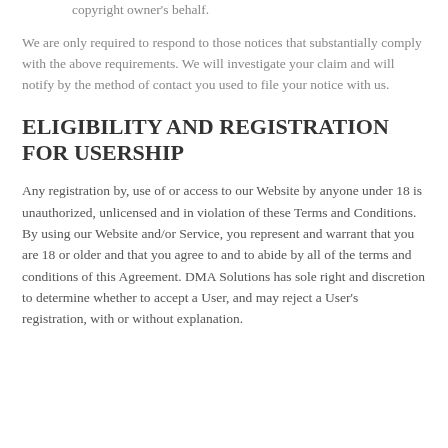you are the copyright owner or authorized to act on the copyright owner's behalf.
We are only required to respond to those notices that substantially comply with the above requirements. We will investigate your claim and will notify by the method of contact you used to file your notice with us.
ELIGIBILITY AND REGISTRATION FOR USERSHIP
Any registration by, use of or access to our Website by anyone under 18 is unauthorized, unlicensed and in violation of these Terms and Conditions. By using our Website and/or Service, you represent and warrant that you are 18 or older and that you agree to and to abide by all of the terms and conditions of this Agreement. DMA Solutions has sole right and discretion to determine whether to accept a User, and may reject a User's registration, with or without explanation.